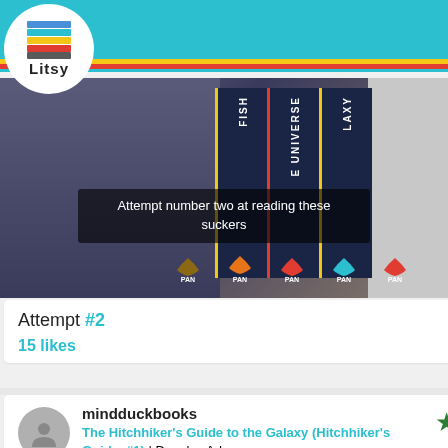[Figure (screenshot): Litsy app screenshot showing navigation bar with home, search, add, flash, and profile icons on a teal background, with Litsy logo in a white circle at top left]
[Figure (photo): Photo of book spines on a shelf, showing Pan Books editions of Hitchhiker's Guide series. Text overlay reads: Attempt number two at reading these suckers]
Attempt #2
15 likes
mindduckbooks
The Hitchhiker's Guide to the Galaxy (Hitchhiker's Guide, #1) | Douglas Adams